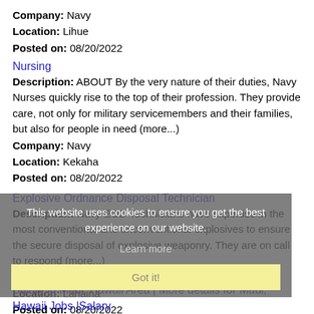Company: Navy
Location: Lihue
Posted on: 08/20/2022
Nursing
Description: ABOUT By the very nature of their duties, Navy Nurses quickly rise to the top of their profession. They provide care, not only for military servicemembers and their families, but also for people in need (more...)
Company: Navy
Location: Kekaha
Posted on: 08/20/2022
Explosive Ordnance Disposal Technician
Description: Navy EOD Technicians have expertise in the most conventional and unconventional explosives to ensure the secure disposal of explosive weaponry. They are on call to respond (more...)
Company: Navy
Location: Lahaina
Posted on: 08/20/2022
This website uses cookies to ensure you get the best experience on our website.
Learn more
Got it!
Salary in Maui, Hawaii Area | More details for Maui, Hawaii Jobs |Salary